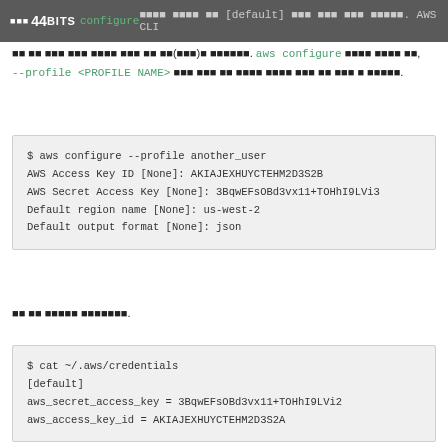44BITS configure [default] . AWS CLI aws configure -- --profile <PROFILE NAME> .
aws configure configure [default] . AWS CLI . aws configure , --profile <PROFILE NAME> .
[Figure (screenshot): Terminal code block showing: $ aws configure --profile another_user / AWS Access Key ID [None]: AKIAJEXHUYCTEHM2D3S2B / AWS Secret Access Key [None]: 3BqwEFsOBd3vx11+TOHhI9LVi3 / Default region name [None]: us-west-2 / Default output format [None]: json]
[Figure (screenshot): Terminal code block showing: $ cat ~/.aws/credentials / [default] / aws_secret_access_key = 3BqwEFsOBd3vx11+TOHhI9LVi2 / aws_access_key_id = AKIAJEXHUYCTEHM2D3S2A]